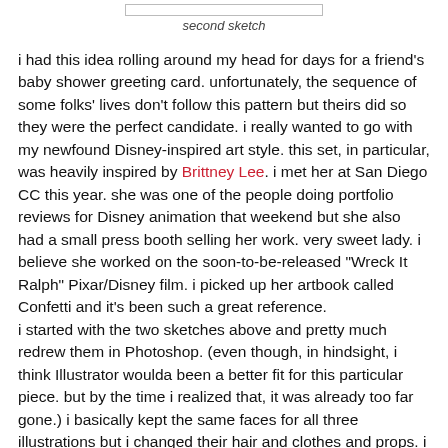[Figure (other): A small rectangular image placeholder at the top center of the page]
second sketch
i had this idea rolling around my head for days for a friend's baby shower greeting card. unfortunately, the sequence of some folks' lives don't follow this pattern but theirs did so they were the perfect candidate. i really wanted to go with my newfound Disney-inspired art style. this set, in particular, was heavily inspired by Brittney Lee. i met her at San Diego CC this year. she was one of the people doing portfolio reviews for Disney animation that weekend but she also had a small press booth selling her work. very sweet lady. i believe she worked on the soon-to-be-released "Wreck It Ralph" Pixar/Disney film. i picked up her artbook called Confetti and it's been such a great reference.
i started with the two sketches above and pretty much redrew them in Photoshop. (even though, in hindsight, i think Illustrator woulda been a better fit for this particular piece. but by the time i realized that, it was already too far gone.) i basically kept the same faces for all three illustrations but i changed their hair and clothes and props. i wanted to keep those basic colors from their wedding for all 3 pieces and it